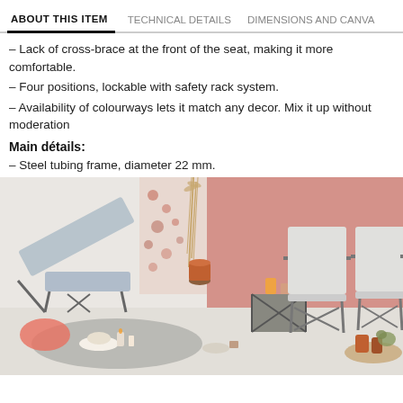ABOUT THIS ITEM  TECHNICAL DETAILS  DIMENSIONS AND CANVA
– Lack of cross-brace at the front of the seat, making it more comfortable.
– Four positions, lockable with safety rack system.
– Availability of colourways lets it match any decor. Mix it up without moderation
Main détails:
– Steel tubing frame, diameter 22 mm.
[Figure (photo): Lifestyle photo showing outdoor/garden chairs including a flat reclining lounger on the left, two upright folding chairs on the right, and a small side table, set against a white and pink background with decorative plants and accessories.]